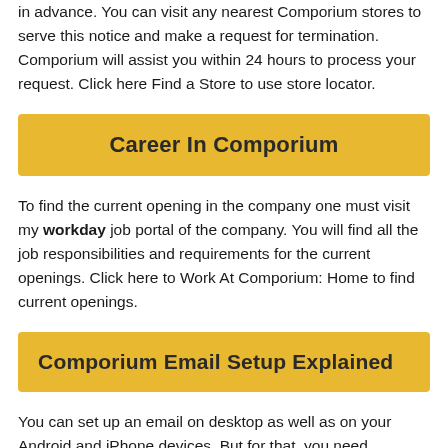in advance. You can visit any nearest Comporium stores to serve this notice and make a request for termination. Comporium will assist you within 24 hours to process your request. Click here Find a Store to use store locator.
Career In Comporium
To find the current opening in the company one must visit my workday job portal of the company. You will find all the job responsibilities and requirements for the current openings. Click here to Work At Comporium: Home to find current openings.
Comporium Email Setup Explained
You can set up an email on desktop as well as on your Android and iPhone devices. But for that, you need